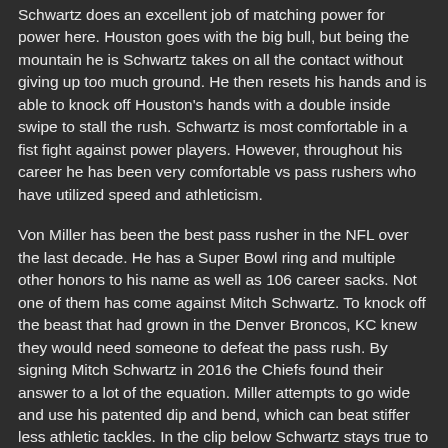Schwartz does an excellent job of matching power for power here. Houston goes with the big bull, but being the mountain he is Schwartz takes on all the contact without giving up too much ground. He then resets his hands and is able to knock off Houston's hands with a double inside swipe to stall the rush. Schwartz is most comfortable in a fist fight against power players. However, throughout his career he has been very comfortable vs pass rushers who have utilized speed and athleticism.
Von Miller has been the best pass rusher in the NFL over the last decade. He has a Super Bowl ring and multiple other honors to his name as well as 106 career sacks. Not one of them has come against Mitch Schwartz. To knock off the beast that had grown in the Denver Broncos, KC knew they would need someone to defeat the pass rush. By signing Mitch Schwartz in 2016 the Chiefs found their answer to a lot of the equation. Miller attempts to go wide and use his patented dip and bend, which can beat stiffer less athletic tackles. In the clip below Schwartz stays true to his training and with a beautifully quick vertical pass set he is able to pull off Miller in a somewhat fashionable manner, maintaining his...